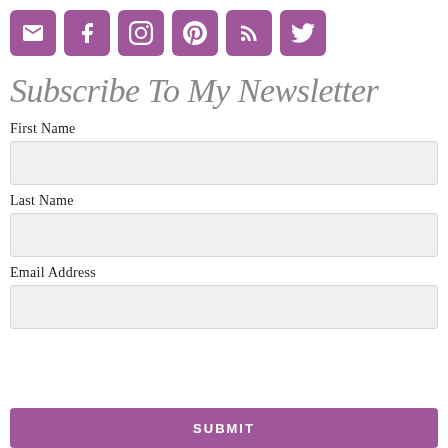[Figure (other): Row of six social media icon buttons: email, Facebook, Instagram, Pinterest, RSS, Twitter — each a purple rounded square with white icon]
Subscribe To My Newsletter
First Name
Last Name
Email Address
SUBMIT